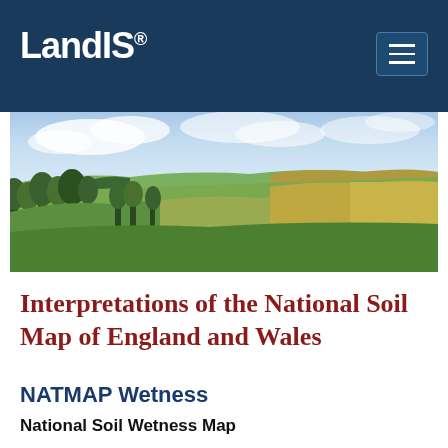LandIS®
[Figure (photo): Aerial panoramic landscape photograph showing rolling green and golden hills with trees, fields, and a wide sky with clouds over England countryside.]
Interpretations of the National Soil Map of England and Wales
NATMAP Wetness
National Soil Wetness Map